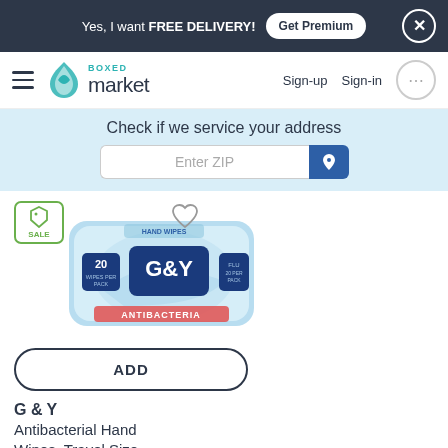Yes, I want FREE DELIVERY! Get Premium ×
Boxed Market   Sign-up   Sign-in
Check if we service your address
Enter ZIP
[Figure (photo): G&Y Antibacterial Hand Wipes Travel Size product package — white and blue packaging with G&Y logo and '20' count label]
ADD
G & Y
Antibacterial Hand Wipes, Travel Size
$2.89 / 20 cnt